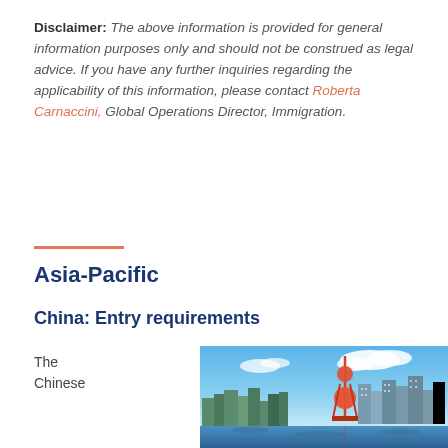Disclaimer: The above information is provided for general information purposes only and should not be construed as legal advice. If you have any further inquiries regarding the applicability of this information, please contact Roberta Carnaccini, Global Operations Director, Immigration.
Asia-Pacific
China: Entry requirements
The Chinese
[Figure (photo): City skyline photo showing the Shanghai Pudong skyline with the Oriental Pearl Tower against a blue sky with clouds, viewed from across the river.]